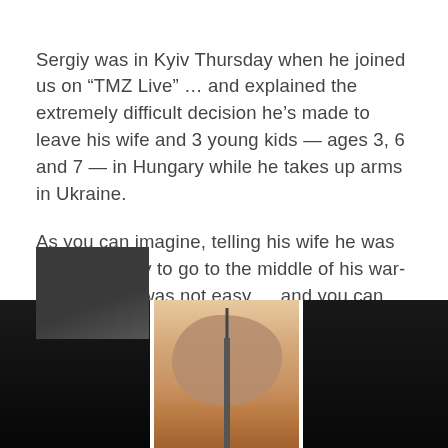Sergiy was in Kyiv Thursday when he joined us on “TMZ Live” … and explained the extremely difficult decision he’s made to leave his wife and 3 young kids — ages 3, 6 and 7 — in Hungary while he takes up arms in Ukraine.
As you can imagine, telling his wife he was leaving safety to go to the middle of his war-torn country was not easy … and you can hear the agony in Sergiy’s voice.
[Figure (photo): Dark thumbnail image in upper-left area, partially visible, dark gray tones]
[Figure (photo): Bottom row of three images: left - very dark/black image, center - a TV tower or antenna surrounded by a large smoke explosion cloud against a hazy sky, right - dark/black image]